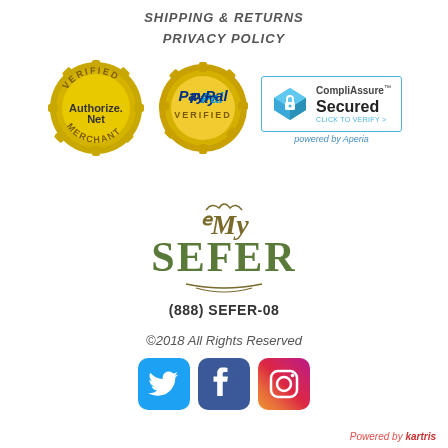SHIPPING & RETURNS
PRIVACY POLICY
[Figure (logo): Authorize.Net Verified Merchant badge (gold circular seal)]
[Figure (logo): PayPal Verified badge (gold circular seal)]
[Figure (logo): CompliAssure Secured badge with blue cube icon, powered by Aperia]
[Figure (logo): My Sefer logo with decorative text and ornamental underline]
(888) SEFER-08
©2018 All Rights Reserved
[Figure (logo): Twitter, Facebook, and Instagram social media icons]
Powered by kartris